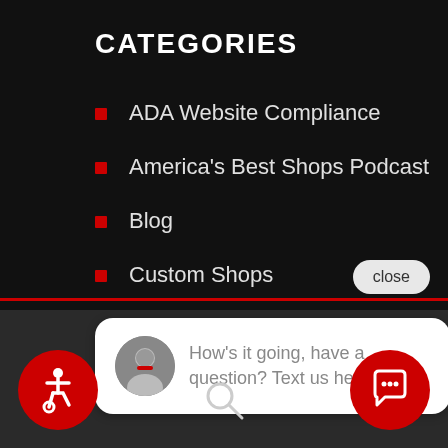CATEGORIES
ADA Website Compliance
America's Best Shops Podcast
Blog
Custom Shops
close
How's it going, have a question? Text us here.
[Figure (other): Accessibility icon button (red circle with wheelchair accessibility symbol)]
[Figure (other): Search icon (magnifying glass)]
[Figure (other): Chat/message icon button (red circle with speech bubble symbol)]